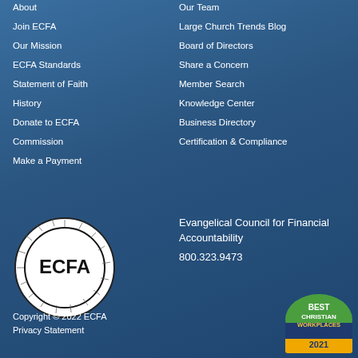About
Our Team
Join ECFA
Large Church Trends Blog
Our Mission
Board of Directors
ECFA Standards
Share a Concern
Statement of Faith
Member Search
History
Knowledge Center
Donate to ECFA
Business Directory
Commission
Certification & Compliance
Make a Payment
[Figure (logo): ECFA circular logo with rays and ECFA text]
Evangelical Council for Financial Accountability
800.323.9473
Copyright © 2022 ECFA
Privacy Statement
[Figure (logo): Best Christian Workplaces Certified 2021 badge]